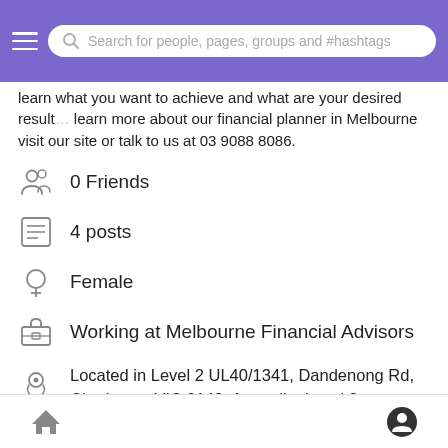Search for people, pages, groups and #hashtags
learn what you want to achieve and what are your desired results learn more about our financial planner in Melbourne visit our site or talk to us at 03 9088 8086.
0 Friends
4 posts
Female
Working at Melbourne Financial Advisors
Located in Level 2 UL40/1341, Dandenong Rd, Chadstone VIC 3148, Australia, Level 2 UL40/1341, Dandenong Rd, Cha
Engaged in business and social networking. Promote your brand; Create Funding Campaign; Post new Jobs; Create, post and manage marketplace. Start social groups and post events. Upload videos, music, and photos. Explore the possibilities #BlacksNetwork
Home | Profile